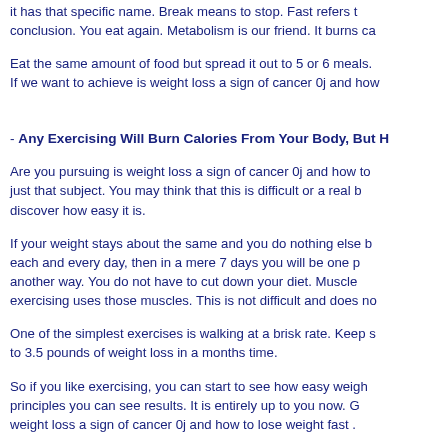it has that specific name. Break means to stop. Fast refers to conclusion. You eat again. Metabolism is our friend. It burns ca
Eat the same amount of food but spread it out to 5 or 6 meals. If we want to achieve is weight loss a sign of cancer 0j and how
- Any Exercising Will Burn Calories From Your Body, But H
Are you pursuing is weight loss a sign of cancer 0j and how to just that subject. You may think that this is difficult or a real b discover how easy it is.
If your weight stays about the same and you do nothing else b each and every day, then in a mere 7 days you will be one p another way. You do not have to cut down your diet. Muscle exercising uses those muscles. This is not difficult and does no
One of the simplest exercises is walking at a brisk rate. Keep s to 3.5 pounds of weight loss in a months time.
So if you like exercising, you can start to see how easy weigh principles you can see results. It is entirely up to you now. G weight loss a sign of cancer 0j and how to lose weight fast .